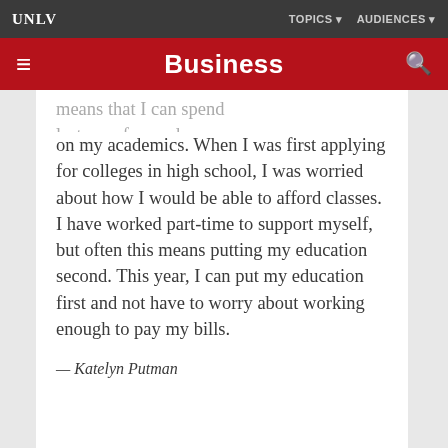UNLV | TOPICS | AUDIENCES
Business
on my academics. When I was first applying for colleges in high school, I was worried about how I would be able to afford classes. I have worked part-time to support myself, but often this means putting my education second. This year, I can put my education first and not have to worry about working enough to pay my bills.
— Katelyn Putman